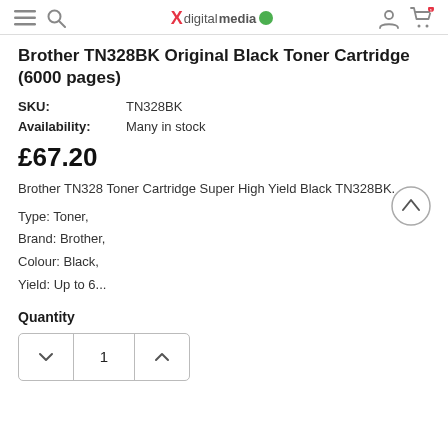Xdigitalmedia
Brother TN328BK Original Black Toner Cartridge (6000 pages)
SKU: TN328BK
Availability: Many in stock
£67.20
Brother TN328 Toner Cartridge Super High Yield Black TN328BK.
Type: Toner,
Brand: Brother,
Colour: Black,
Yield: Up to 6...
Quantity
1